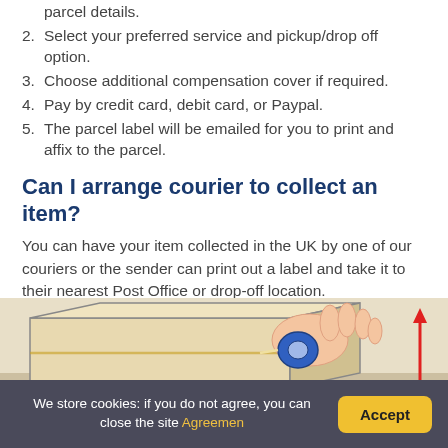parcel details.
2. Select your preferred service and pickup/drop off option.
3. Choose additional compensation cover if required.
4. Pay by credit card, debit card, or Paypal.
5. The parcel label will be emailed for you to print and affix to the parcel.
Can I arrange courier to collect an item?
You can have your item collected in the UK by one of our couriers or the sender can print out a label and take it to their nearest Post Office or drop-off location.
[Figure (illustration): Illustration of hands taping/sealing a cardboard box with a blue tape dispenser, with a red upward arrow on the right side.]
We store cookies: if you do not agree, you can close the site Agreemen